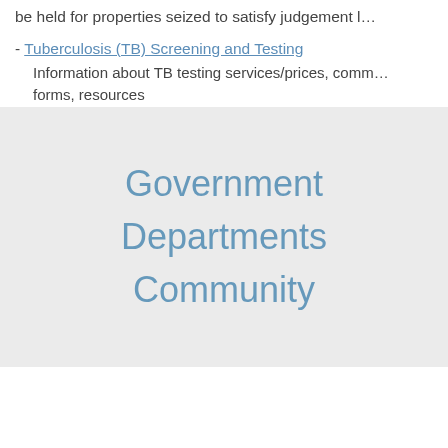be held for properties seized to satisfy judgement l…
- Tuberculosis (TB) Screening and Testing
Information about TB testing services/prices, comm… forms, resources
Government
Departments
Community